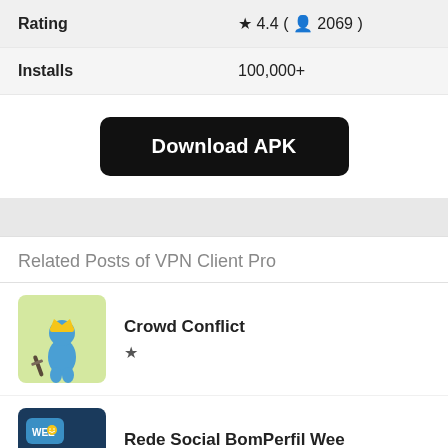| Rating | ★ 4.4 (👤 2069) |
| Installs | 100,000+ |
Download APK
Related Posts of VPN Client Pro
Crowd Conflict ★
Rede Social BomPerfil Wee ★